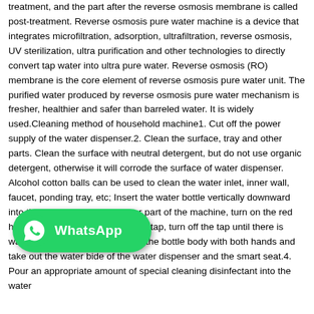treatment, and the part after the reverse osmosis membrane is called post-treatment. Reverse osmosis pure water machine is a device that integrates microfiltration, adsorption, ultrafiltration, reverse osmosis, UV sterilization, ultra purification and other technologies to directly convert tap water into ultra pure water. Reverse osmosis (RO) membrane is the core element of reverse osmosis pure water unit. The purified water produced by reverse osmosis pure water mechanism is fresher, healthier and safer than barreled water. It is widely used.Cleaning method of household machine1. Cut off the power supply of the water dispenser.2. Clean the surface, tray and other parts. Clean the surface with neutral detergent, but do not use organic detergent, otherwise it will corrode the surface of water dispenser. Alcohol cotton balls can be used to clean the water inlet, inner wall, faucet, ponding tray, etc; Insert the water bottle vertically downward into the smart seat on the upper part of the machine, turn on the red hot water tap and blue cold water tap, turn off the tap until there is water discharged, and then hold the bottle body with both hands and take out the water b...ide of the water dispenser and the smart seat.4. Pour an appropriate amount of special cleaning disinfectant into the water
[Figure (logo): WhatsApp logo button - green rounded rectangle with WhatsApp phone icon and 'WhatsApp' text in white]